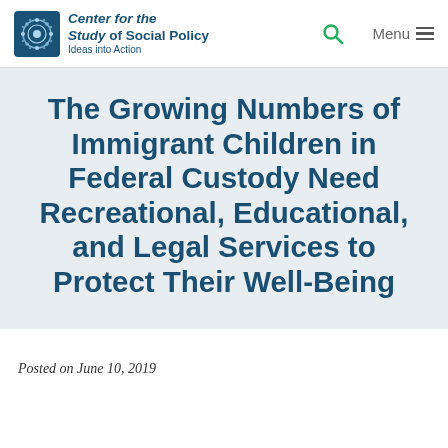Center for the Study of Social Policy — Ideas into Action
The Growing Numbers of Immigrant Children in Federal Custody Need Recreational, Educational, and Legal Services to Protect Their Well-Being
Posted on June 10, 2019